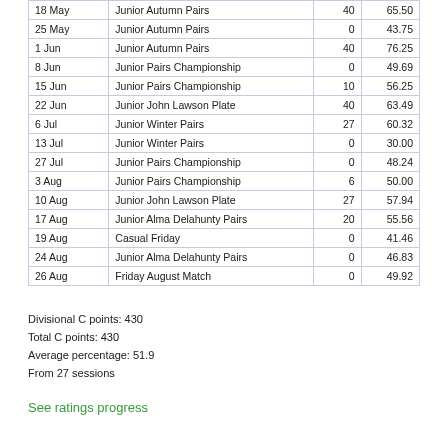| Date | Event | Points | Score |
| --- | --- | --- | --- |
| 18 May | Junior Autumn Pairs | 40 | 65.50 |
| 25 May | Junior Autumn Pairs | 0 | 43.75 |
| 1 Jun | Junior Autumn Pairs | 40 | 76.25 |
| 8 Jun | Junior Pairs Championship | 0 | 49.69 |
| 15 Jun | Junior Pairs Championship | 10 | 56.25 |
| 22 Jun | Junior John Lawson Plate | 40 | 63.49 |
| 6 Jul | Junior Winter Pairs | 27 | 60.32 |
| 13 Jul | Junior Winter Pairs | 0 | 30.00 |
| 27 Jul | Junior Pairs Championship | 0 | 48.24 |
| 3 Aug | Junior Pairs Championship | 6 | 50.00 |
| 10 Aug | Junior John Lawson Plate | 27 | 57.94 |
| 17 Aug | Junior Alma Delahunty Pairs | 20 | 55.56 |
| 19 Aug | Casual Friday | 0 | 41.46 |
| 24 Aug | Junior Alma Delahunty Pairs | 0 | 46.83 |
| 26 Aug | Friday August Match | 0 | 49.92 |
Divisional C points: 430
Total C points: 430
Average percentage: 51.9
From 27 sessions
See ratings progress